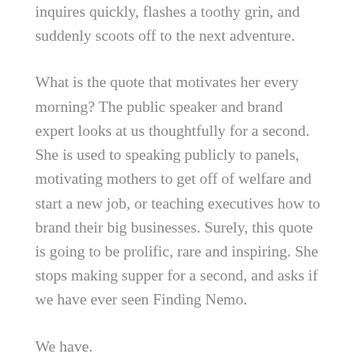inquires quickly, flashes a toothy grin, and suddenly scoots off to the next adventure.
What is the quote that motivates her every morning? The public speaker and brand expert looks at us thoughtfully for a second. She is used to speaking publicly to panels, motivating mothers to get off of welfare and start a new job, or teaching executives how to brand their big businesses. Surely, this quote is going to be prolific, rare and inspiring. She stops making supper for a second, and asks if we have ever seen Finding Nemo.
We have.
“Dory, (played by Ellen DeGeneres) the fish from the movie “Finding Nemo” is said to have the...